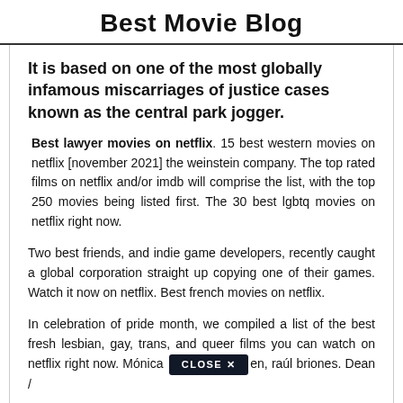Best Movie Blog
It is based on one of the most globally infamous miscarriages of justice cases known as the central park jogger.
Best lawyer movies on netflix. 15 best western movies on netflix [november 2021] the weinstein company. The top rated films on netflix and/or imdb will comprise the list, with the top 250 movies being listed first. The 30 best lgbtq movies on netflix right now.
Two best friends, and indie game developers, recently caught a global corporation straight up copying one of their games. Watch it now on netflix. Best french movies on netflix.
In celebration of pride month, we compiled a list of the best fresh lesbian, gay, trans, and queer films you can watch on netflix right now. Mónica [CLOSE X] en, raúl briones. Dean /